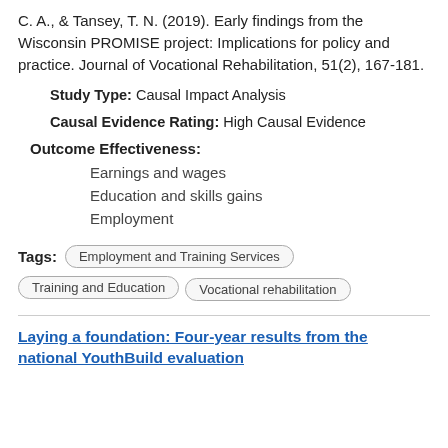C. A., & Tansey, T. N. (2019). Early findings from the Wisconsin PROMISE project: Implications for policy and practice. Journal of Vocational Rehabilitation, 51(2), 167-181.
Study Type: Causal Impact Analysis
Causal Evidence Rating: High Causal Evidence
Outcome Effectiveness:
Earnings and wages
Education and skills gains
Employment
Tags: Employment and Training Services | Training and Education | Vocational rehabilitation
Laying a foundation: Four-year results from the national YouthBuild evaluation